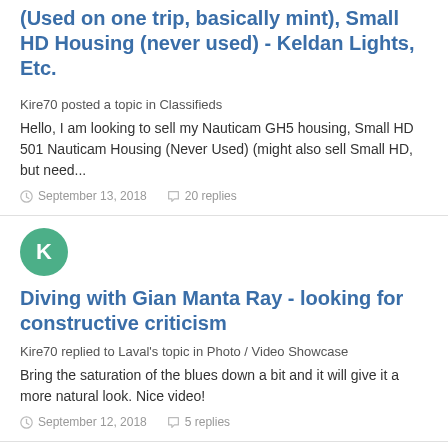(Used on one trip, basically mint), Small HD Housing (never used) - Keldan Lights, Etc.
Kire70 posted a topic in Classifieds
Hello, I am looking to sell my Nauticam GH5 housing, Small HD 501 Nauticam Housing (Never Used) (might also sell Small HD, but need...
September 13, 2018   20 replies
[Figure (illustration): Green circular avatar with white letter K]
Diving with Gian Manta Ray - looking for constructive criticism
Kire70 replied to Laval's topic in Photo / Video Showcase
Bring the saturation of the blues down a bit and it will give it a more natural look. Nice video!
September 12, 2018   5 replies
[Figure (illustration): Green circular avatar with white letter K]